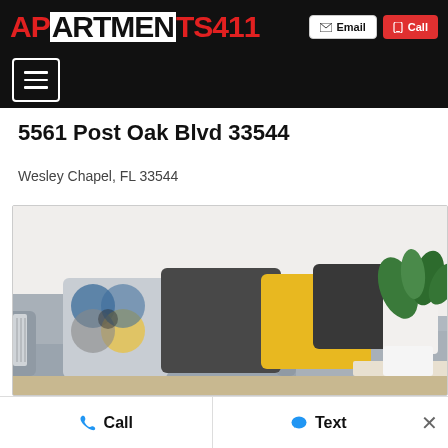APARTMENTS411 — Email | Call
5561 Post Oak Blvd 33544
Wesley Chapel, FL 33544
[Figure (photo): Interior photo of a grey sofa with decorative pillows (geometric patterned, dark grey, and yellow) and a white vase with green plant in the background]
Call   Text   ×